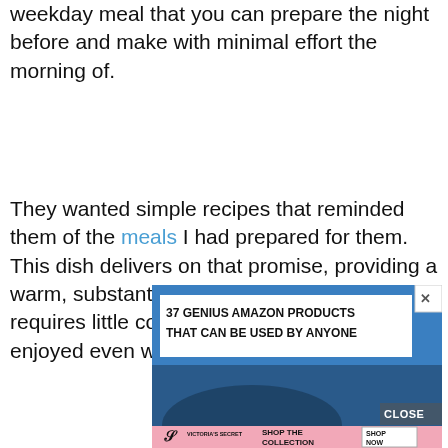weekday meal that you can prepare the night before and make with minimal effort the morning of.
They wanted simple recipes that reminded them of the meals I had prepared for them. This dish delivers on that promise, providing a warm, substantial, healthful supper that requires little cooking expertise and can be enjoyed even without searing the meat.
[Figure (other): Advertisement banner: '37 GENIUS AMAZON PRODUCTS THAT CAN BE USED BY ANYONE' with a blue background and a CLOSE button. Below it is a Victoria's Secret 'SHOP THE COLLECTION / SHOP NOW' banner with a pink background.]